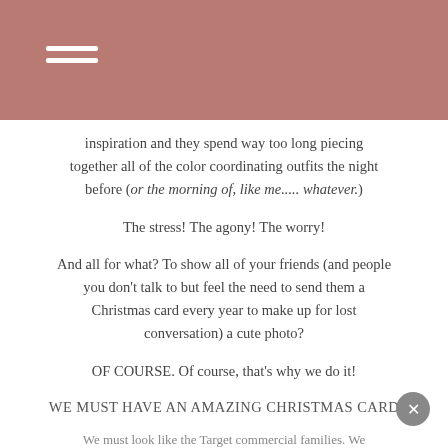inspiration and they spend way too long piecing together all of the color coordinating outfits the night before (or the morning of, like me..... whatever.)
The stress! The agony! The worry!
And all for what? To show all of your friends (and people you don't talk to but feel the need to send them a Christmas card every year to make up for lost conversation) a cute photo?
OF COURSE. Of course, that's why we do it!
WE MUST HAVE AN AMAZING CHRISTMAS CARD
We must look like the Target commercial families. We